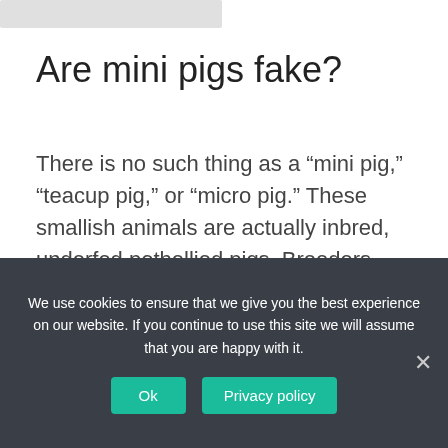[Figure (photo): Partial top image bar (cropped photo placeholder, light grey)]
Are mini pigs fake?
There is no such thing as a “mini pig,” “teacup pig,” or “micro pig.” These smallish animals are actually inbred, underfed potbellied pigs. Breeders teach new guardians to feed them a restrictive diet, which results in a malnourished, growth-stunted pig.
[Figure (screenshot): YouTube video thumbnail with red circle logo and title 'How Pygmy Hogs Are Getting a Se...' on black background with three-dot menu icon]
We use cookies to ensure that we give you the best experience on our website. If you continue to use this site we will assume that you are happy with it.